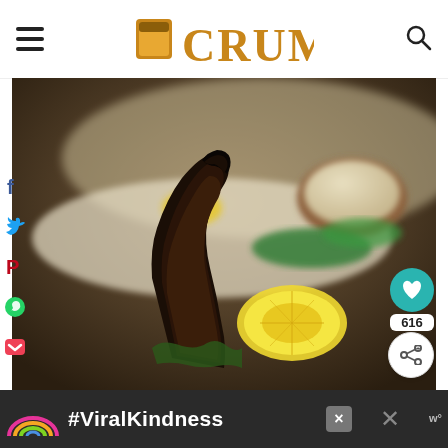CRUMB (logo/navigation header)
[Figure (photo): Close-up food photo of grilled meat (lamb chops or similar) on a white serving dish, with lemon slices, green peppers/herbs, and a small brown ceramic bowl containing a light-colored sauce or dip in the background. Blurred background with warm tones.]
[Figure (infographic): Social media share buttons on the left sidebar: Facebook (f), Twitter (bird), Pinterest (P), WhatsApp (phone), Pocket (P). Save/like button (heart icon, teal circle) with count 616. Share button (white circle with share icon).]
616
[Figure (infographic): Advertisement banner at bottom with dark background, rainbow illustration, #ViralKindness text, close (X) button, and a 'w' logo at the right.]
#ViralKindness